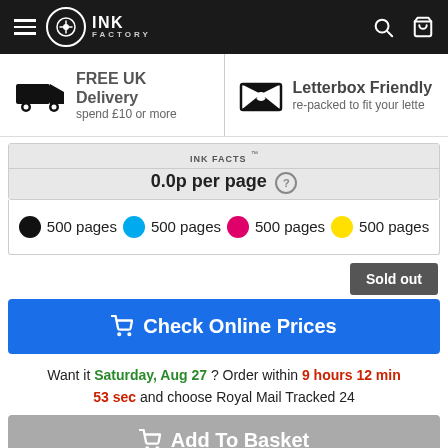INK FACTORY
FREE UK Delivery spend £10 or more
Letterbox Friendly re-packed to fit your lette
INK FACTS 0.0p per page
500 pages (black) 500 pages (cyan) 500 pages (magenta) 500 pages (yellow)
Sold out
Check Online Prices
Want it Saturday, Aug 27 ? Order within 9 hours 12 min 53 sec and choose Royal Mail Tracked 24
Add To Basket